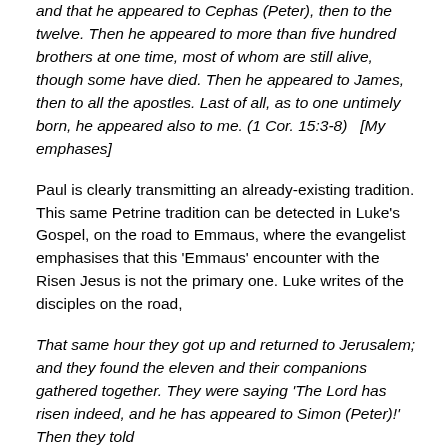and that he appeared to Cephas (Peter), then to the twelve. Then he appeared to more than five hundred brothers at one time, most of whom are still alive, though some have died. Then he appeared to James, then to all the apostles. Last of all, as to one untimely born, he appeared also to me. (1 Cor. 15:3-8)   [My emphases]
Paul is clearly transmitting an already-existing tradition. This same Petrine tradition can be detected in Luke's Gospel, on the road to Emmaus, where the evangelist emphasises that this 'Emmaus' encounter with the Risen Jesus is not the primary one. Luke writes of the disciples on the road,
That same hour they got up and returned to Jerusalem; and they found the eleven and their companions gathered together. They were saying 'The Lord has risen indeed, and he has appeared to Simon (Peter)!' Then they told